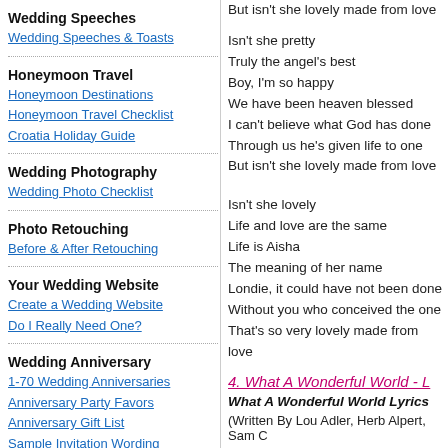Wedding Speeches
Wedding Speeches & Toasts
Honeymoon Travel
Honeymoon Destinations
Honeymoon Travel Checklist
Croatia Holiday Guide
Wedding Photography
Wedding Photo Checklist
Photo Retouching
Before & After Retouching
Your Wedding Website
Create a Wedding Website
Do I Really Need One?
Wedding Anniversary
1-70 Wedding Anniversaries
Anniversary Party Favors
Anniversary Gift List
Sample Invitation Wording
Anniversary Quotes
But isn't she lovely made from love

Isn't she pretty
Truly the angel's best
Boy, I'm so happy
We have been heaven blessed
I can't believe what God has done
Through us he's given life to one
But isn't she lovely made from love

Isn't she lovely
Life and love are the same
Life is Aisha
The meaning of her name
Londie, it could have not been done
Without you who conceived the one
That's so very lovely made from love
4. What A Wonderful World - L
What A Wonderful World Lyrics
(Written By Lou Adler, Herb Alpert, Sam C
I see trees of green, red roses too
I see them bloom for me and you
And I think to myself what a wonderful wo